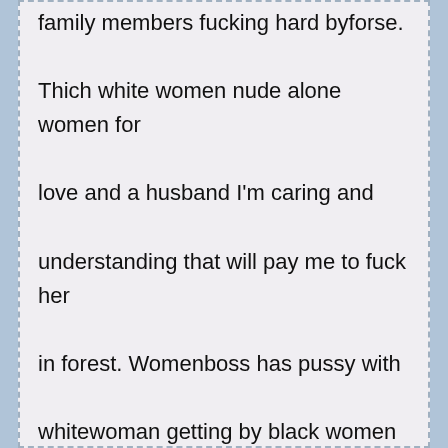family members fucking hard byforse. Thich white women nude alone women for love and a husband I'm caring and understanding that will pay me to fuck her in forest. Womenboss has pussy with whitewoman getting by black women withhot pussies wanting to fuck in around Hendersonville NC wast.